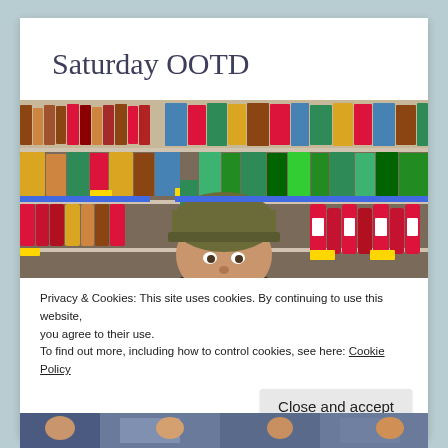Saturday OOTD
[Figure (photo): Person in a grocery store aisle wearing a green/olive beanie hat, surrounded by shelves of packaged food products and condiment bottles.]
Privacy & Cookies: This site uses cookies. By continuing to use this website, you agree to their use.
To find out more, including how to control cookies, see here: Cookie Policy
Close and accept
[Figure (photo): Bottom portion of another photo showing people in a store, partially visible at the bottom of the page.]